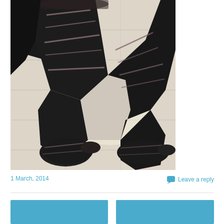[Figure (photo): A person wearing black striped thigh-high stockings and dark socks, photographed from above looking down at their legs on a light wooden floor.]
1 March, 2014
Leave a reply